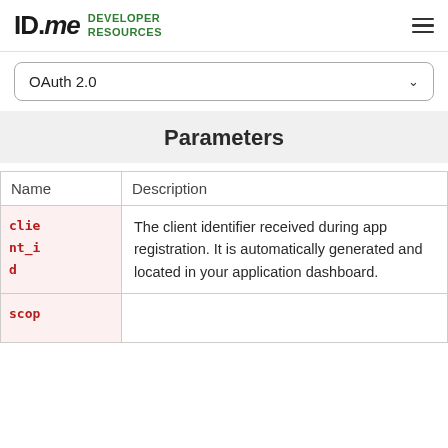ID.me DEVELOPER RESOURCES
OAuth 2.0
Parameters
| Name | Description |
| --- | --- |
| client_id | The client identifier received during app registration. It is automatically generated and located in your application dashboard. |
| scop |  |